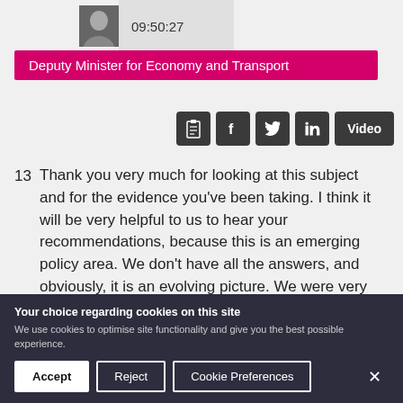[Figure (photo): Photo of a man in a suit with a tie, timestamp 09:50:27 visible beside the photo]
Deputy Minister for Economy and Transport
[Figure (infographic): Row of social sharing icon buttons: clipboard/transcript icon, Facebook, Twitter, LinkedIn, and Video button]
13  Thank you very much for looking at this subject and for the evidence you've been taking. I think it will be very helpful to us to hear your recommendations, because this is an emerging policy area. We don't have all the answers, and obviously, it is an evolving picture. We were very
Your choice regarding cookies on this site
We use cookies to optimise site functionality and give you the best possible experience.
Accept  Reject  Cookie Preferences